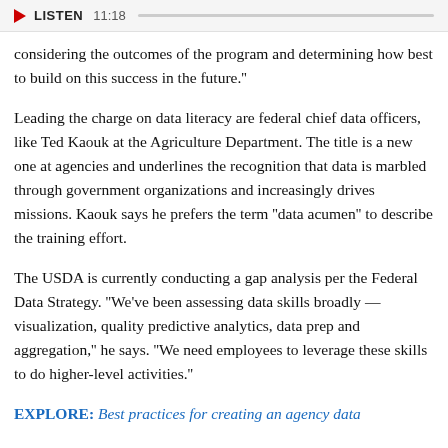LISTEN 11:18
considering the outcomes of the program and determining how best to build on this success in the future."
Leading the charge on data literacy are federal chief data officers, like Ted Kaouk at the Agriculture Department. The title is a new one at agencies and underlines the recognition that data is marbled through government organizations and increasingly drives missions. Kaouk says he prefers the term "data acumen" to describe the training effort.
The USDA is currently conducting a gap analysis per the Federal Data Strategy. "We've been assessing data skills broadly — visualization, quality predictive analytics, data prep and aggregation," he says. "We need employees to leverage these skills to do higher-level activities."
EXPLORE: Best practices for creating an agency data dashboard